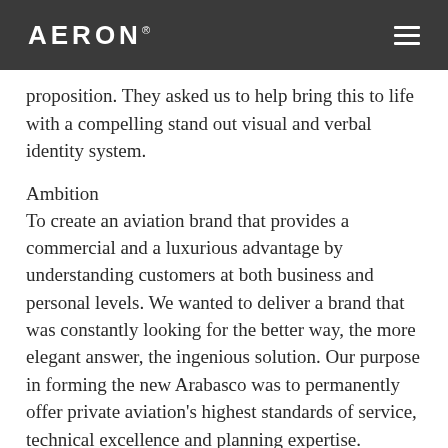AERON
proposition. They asked us to help bring this to life with a compelling stand out visual and verbal identity system.
Ambition
To create an aviation brand that provides a commercial and a luxurious advantage by understanding customers at both business and personal levels. We wanted to deliver a brand that was constantly looking for the better way, the more elegant answer, the ingenious solution. Our purpose in forming the new Arabasco was to permanently offer private aviation's highest standards of service, technical excellence and planning expertise.